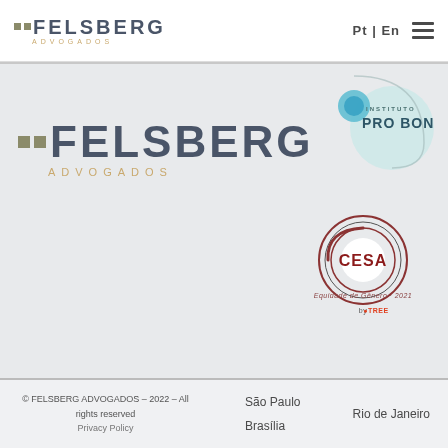[Figure (logo): Felsberg Advogados logo in header nav bar with two small square dots and text FELSBERG ADVOGADOS]
[Figure (logo): Language selector Pt | En and hamburger menu icon in header]
[Figure (logo): Instituto Pro Bono circular logo in upper right of main body area]
[Figure (logo): Large Felsberg Advogados logo in main body area with two square dots]
[Figure (logo): CESA logo with circular design and text Equidade de Genero - 2021 and TREE branding]
© FELSBERG ADVOGADOS - 2022 - All rights reserved
Privacy Policy
São Paulo
Brasília
Rio de Janeiro